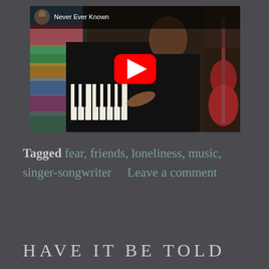[Figure (screenshot): YouTube video thumbnail showing a woman playing piano and singing, titled 'Never Ever Known'. The video shows a colorful scene with a piano, guitar in the background, and a YouTube play button overlay.]
Tagged fear, friends, loneliness, music, singer-songwriter     Leave a comment
HAVE IT BE TOLD